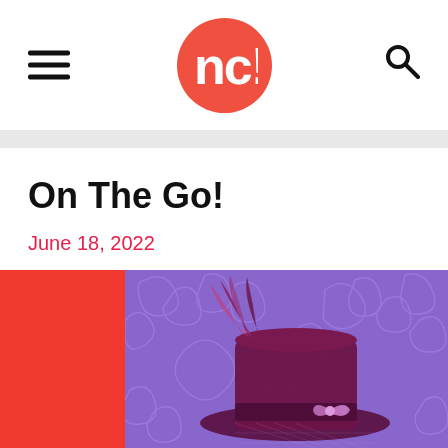nc! logo with hamburger menu and search icon
On The Go!
June 18, 2022
[Figure (photo): A decorative dark magenta/burgundy top hat with feathers and ribbons on a purple floral background, with red left border panel]